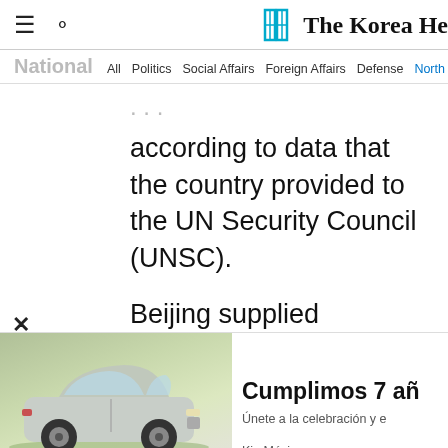The Korea Herald
National  All  Politics  Social Affairs  Foreign Affairs  Defense  North Korea  Hw...
according to data that the country provided to the UN Security Council (UNSC).
Beijing supplied Pyongyang with
[Figure (photo): Kia Rio advertisement showing a silver hatchback car on a green lawn with trees, with text: Rio con 0% de comisión por apertura. Cumplimos 7 añ... Únete a la celebración y e... Kia México]